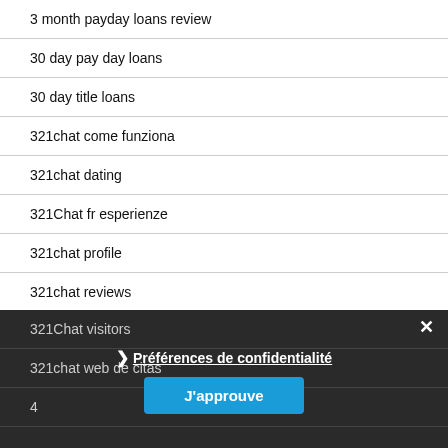3 month payday loans review
30 day pay day loans
30 day title loans
321chat come funziona
321chat dating
321Chat fr esperienze
321chat profile
321chat reviews
321Chat visitors
321chat web de citas
4
Préférences de confidentialité
J'approuve